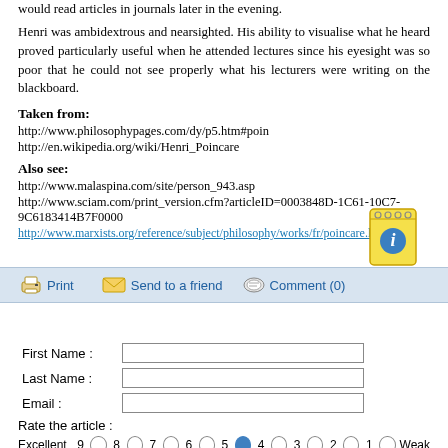would read articles in journals later in the evening.
Henri was ambidextrous and nearsighted. His ability to visualise what he heard proved particularly useful when he attended lectures since his eyesight was so poor that he could not see properly what his lecturers were writing on the blackboard.
Taken from:
http://www.philosophypages.com/dy/p5.htm#poin
http://en.wikipedia.org/wiki/Henri_Poincare
Also see:
http://www.malaspina.com/site/person_943.asp
http://www.sciam.com/print_version.cfm?articleID=0003848D-1C61-10C7-9C6183414B7F0000
http://www.marxists.org/reference/subject/philosophy/works/fr/poincare.htm
[Figure (infographic): Toolbar with Print, Send to a friend, Comment (0) icons and decorative info notebook image]
| First Name : |  |
| Last Name : |  |
| Email : |  |
Rate the article :
Excellent  9  8  7  6  5  4  3  2  1  Weak
Register your comments below: